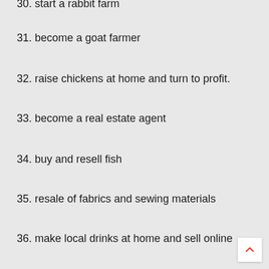30. start a rabbit farm
31. become a goat farmer
32. raise chickens at home and turn to profit.
33. become a real estate agent
34. buy and resell fish
35. resale of fabrics and sewing materials
36. make local drinks at home and sell online
37. customize shoes
38. sell homemade beauty products